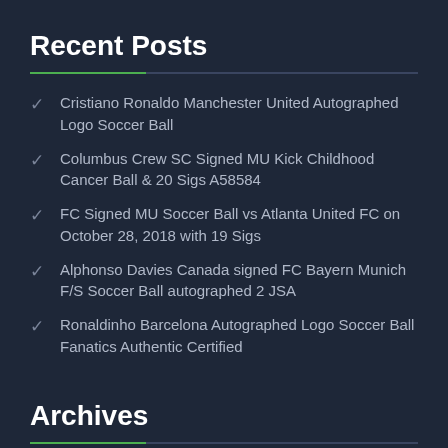Recent Posts
Cristiano Ronaldo Manchester United Autographed Logo Soccer Ball
Columbus Crew SC Signed MU Kick Childhood Cancer Ball & 20 Sigs A58584
FC Signed MU Soccer Ball vs Atlanta United FC on October 28, 2018 with 19 Sigs
Alphonso Davies Canada signed FC Bayern Munich F/S Soccer Ball autographed 2 JSA
Ronaldinho Barcelona Autographed Logo Soccer Ball Fanatics Authentic Certified
Archives